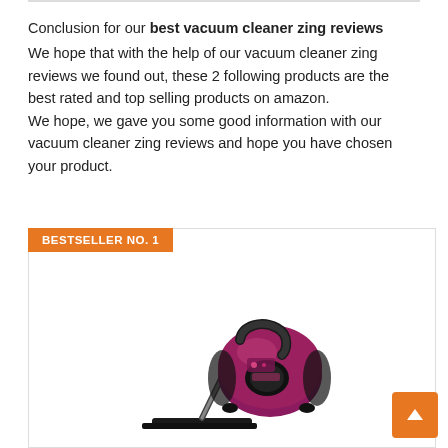Conclusion for our best vacuum cleaner zing reviews
We hope that with the help of our vacuum cleaner zing reviews we found out, these 2 following products are the best rated and top selling products on amazon.
We hope, we gave you some good information with our vacuum cleaner zing reviews and hope you have chosen your product.
BESTSELLER NO. 1
[Figure (photo): A purple/maroon canister vacuum cleaner (Bissell Zing) with hose and floor attachment, shown on white background]
[Figure (other): 4-star rating shown with gold/yellow stars (4 filled, 1 empty)]